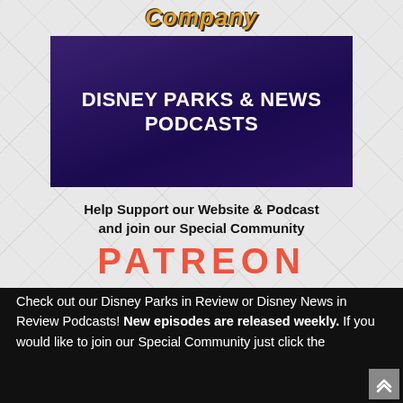[Figure (logo): Partial logo text reading 'Company' in orange/gold stylized font on light gray geometric background]
[Figure (illustration): Dark purple/indigo banner with white bold uppercase text reading 'DISNEY PARKS & NEWS PODCASTS']
Help Support our Website & Podcast and join our Special Community
PATREON
Check out our Disney Parks in Review or Disney News in Review Podcasts! New episodes are released weekly. If you would like to join our Special Community just click the